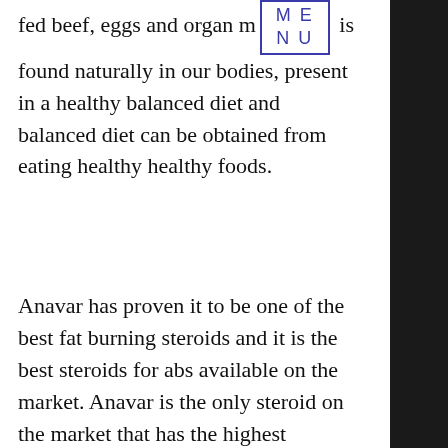fed beef, eggs and organ meats is found naturally in our bodies, present in a healthy balanced diet and balanced diet can be obtained from eating healthy healthy foods.
Anavar has proven it to be one of the best fat burning steroids and it is the best steroids for abs available on the market. Anavar is the only steroid on the market that has the highest anabolic rate of any steroid without the side effects of other steroids containing high amounts of cortisol or other hormones. Its main ingredient (nandrolone) binds to receptors located in the hypothalamus, pituitary and spleen which helps to increase the production of fat. Its effects are strong at the expense of fat loss and fat mass gains that many others drugs have in common. Although Anavar has an extremely high anabolic rate (as high as 5 fold), it contains